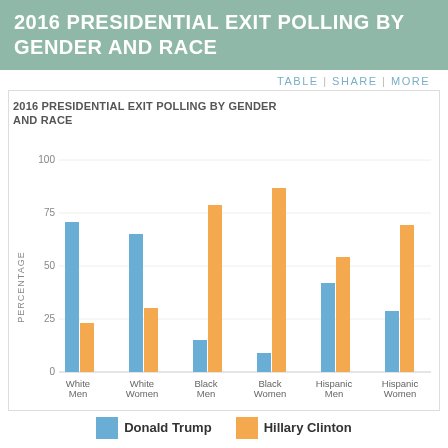2016 PRESIDENTIAL EXIT POLLING BY GENDER AND RACE
TABLE | SHARE | MORE
[Figure (grouped-bar-chart): 2016 PRESIDENTIAL EXIT POLLING BY GENDER AND RACE]
Donald Trump    Hillary Clinton